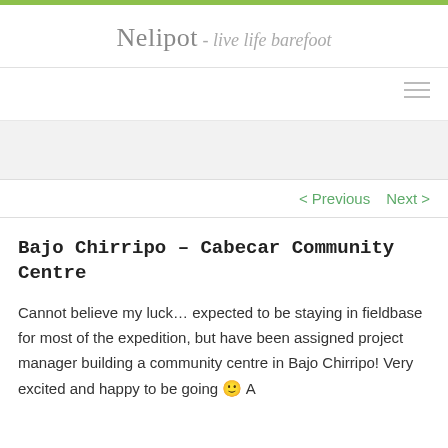Nelipot - live life barefoot
< Previous   Next >
Bajo Chirripo – Cabecar Community Centre
Cannot believe my luck… expected to be staying in fieldbase for most of the expedition, but have been assigned project manager building a community centre in Bajo Chirripo! Very excited and happy to be going 🙂 A